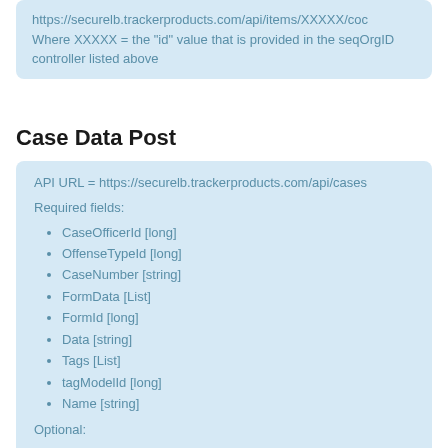https://securelb.trackerproducts.com/api/items/XXXXX/coc
Where XXXXX = the "id" value that is provided in the seqOrgID controller listed above
Case Data Post
API URL = https://securelb.trackerproducts.com/api/cases
Required fields:
CaseOfficerId [long]
OffenseTypeId [long]
CaseNumber [string]
FormData [List]
FormId [long]
Data [string]
Tags [List]
tagModelId [long]
Name [string]
Optional:
OffenseDescription [string]